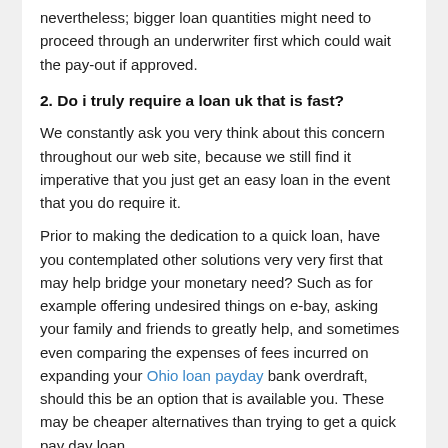nevertheless; bigger loan quantities might need to proceed through an underwriter first which could wait the pay-out if approved.
2. Do i truly require a loan uk that is fast?
We constantly ask you very think about this concern throughout our web site, because we still find it imperative that you just get an easy loan in the event that you do require it.
Prior to making the dedication to a quick loan, have you contemplated other solutions very very first that may help bridge your monetary need? Such as for example offering undesired things on e-bay, asking your family and friends to greatly help, and sometimes even comparing the expenses of fees incurred on expanding your Ohio loan payday bank overdraft, should this be an option that is available you. These may be cheaper alternatives than trying to get a quick pay day loan.
We constantly advise to simply ever make an application